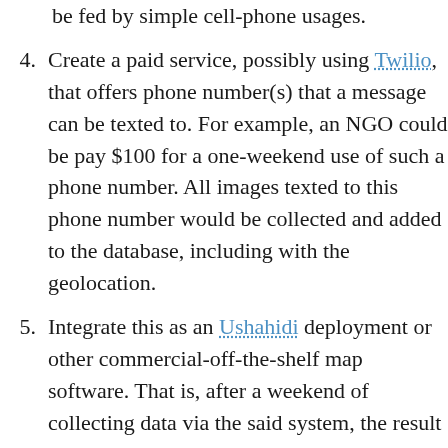be fed by simple cell-phone usages.
4. Create a paid service, possibly using Twilio, that offers phone number(s) that a message can be texted to. For example, an NGO could be pay $100 for a one-weekend use of such a phone number. All images texted to this phone number would be collected and added to the database, including with the geolocation.
5. Integrate this as an Ushahidi deployment or other commercial-off-the-shelf map software. That is, after a weekend of collecting data via the said system, the result is a permanent Ushahidi deployment that allows data analysis after the fact and...